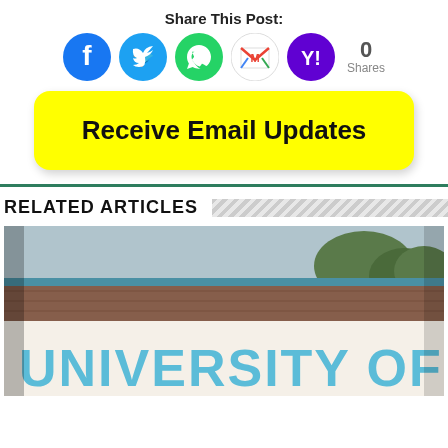Share This Post:
[Figure (infographic): Social share icons: Facebook (blue circle), Twitter (cyan circle), WhatsApp (green circle), Gmail (red/white envelope circle), Yahoo (purple circle), followed by '0 Shares' count]
[Figure (infographic): Yellow rounded rectangle button reading 'Receive Email Updates']
RELATED ARTICLES
[Figure (photo): Photo of University of Jos entrance sign — large blue letters on a brick wall reading 'UNIVERSITY OF JOS']